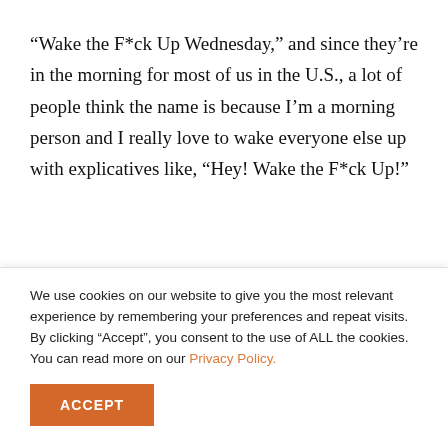“Wake the F*ck Up Wednesday,” and since they’re in the morning for most of us in the U.S., a lot of people think the name is because I’m a morning person and I really love to wake everyone else up with explicatives like, “Hey! Wake the F*ck Up!”
While I often start the live stream that way, it isn’t
We use cookies on our website to give you the most relevant experience by remembering your preferences and repeat visits. By clicking “Accept”, you consent to the use of ALL the cookies. You can read more on our Privacy Policy.